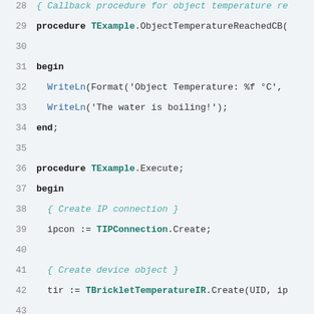28  { Callback procedure for object temperature re
29  procedure TExample.ObjectTemperatureReachedCB(
30
31  begin
32    WriteLn(Format('Object Temperature: %f °C',
33    WriteLn('The water is boiling!');
34  end;
35
36  procedure TExample.Execute;
37  begin
38    { Create IP connection }
39    ipcon := TIPConnection.Create;
40
41    { Create device object }
42    tir := TBrickletTemperatureIR.Create(UID, ip
43
44    { Connect to brickd }
45    ipcon.Connect(HOST, PORT);
46    { Don't use device before ipcon is connected
47
48    { Set emissivity to 0.98 (emissivity of wate
49  tir.SetEmissivity($4CCA);